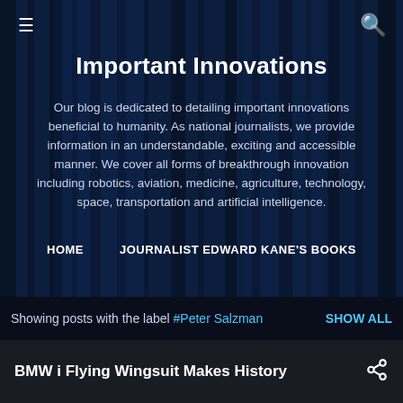[Figure (screenshot): Dark blue curtain/forest background image for blog header]
Important Innovations
Our blog is dedicated to detailing important innovations beneficial to humanity. As national journalists, we provide information in an understandable, exciting and accessible manner. We cover all forms of breakthrough innovation including robotics, aviation, medicine, agriculture, technology, space, transportation and artificial intelligence.
HOME    JOURNALIST EDWARD KANE'S BOOKS
Showing posts with the label #Peter Salzman    SHOW ALL
BMW i Flying Wingsuit Makes History